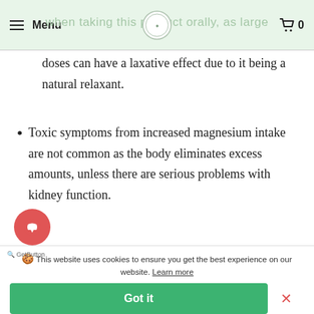Menu | [logo] | when taking this product orally, as large | 0
doses can have a laxative effect due to it being a natural relaxant.
Toxic symptoms from increased magnesium intake are not common as the body eliminates excess amounts, unless there are serious problems with kidney function.
Standard delivery is available right across the UK mainland and We do not post to P.O.
🍪 This website uses cookies to ensure you get the best experience on our website. Learn more
Got it